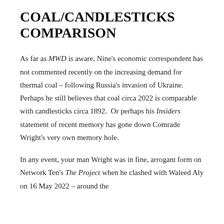COAL/CANDLESTICKS COMPARISON
As far as MWD is aware, Nine's economic correspondent has not commented recently on the increasing demand for thermal coal – following Russia's invasion of Ukraine. Perhaps he still believes that coal circa 2022 is comparable with candlesticks circa 1892.  Or perhaps his Insiders statement of recent memory has gone down Comrade Wright's very own memory hole.
In any event, your man Wright was in fine, arrogant form on Network Ten's The Project when he clashed with Waleed Aly on 16 May 2022 – around the